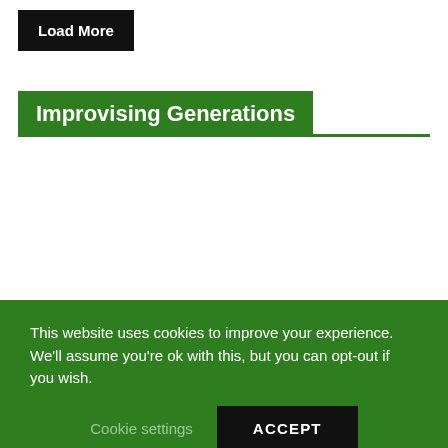Load More
Improvising Generations
This website uses cookies to improve your experience. We'll assume you're ok with this, but you can opt-out if you wish.
Cookie settings
ACCEPT